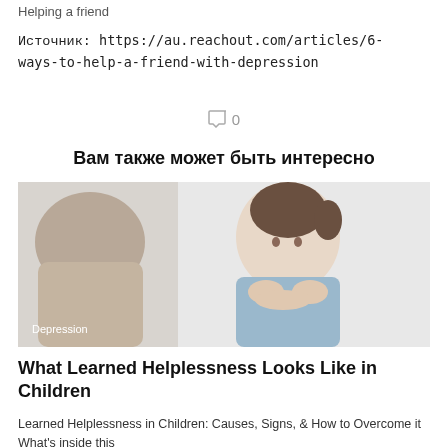Helping a friend
Источник: https://au.reachout.com/articles/6-ways-to-help-a-friend-with-depression
0
Вам также может быть интересно
[Figure (photo): A child resting her chin on her hands looking thoughtfully at an adult whose back is toward the camera. Label 'Depression' appears bottom left.]
What Learned Helplessness Looks Like in Children
Learned Helplessness in Children: Causes, Signs, & How to Overcome it What's inside this